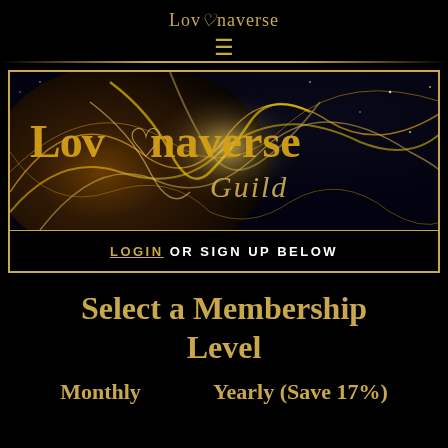LovAnaverse
[Figure (illustration): LovAnaverse Guild banner with ornate golden fractal swirling patterns on dark background, text reads 'LovAnaverse Guild' in gold lettering]
LOGIN OR SIGN UP BELOW
Select a Membership Level
Monthly   Yearly (Save 17%)